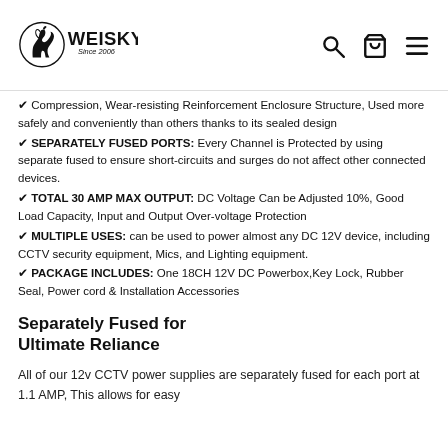WEISKY Since 2006
✔ Compression, Wear-resisting Reinforcement Enclosure Structure, Used more safely and conveniently than others thanks to its sealed design
✔ SEPARATELY FUSED PORTS: Every Channel is Protected by using separate fused to ensure short-circuits and surges do not affect other connected devices.
✔ TOTAL 30 AMP MAX OUTPUT: DC Voltage Can be Adjusted 10%, Good Load Capacity, Input and Output Over-voltage Protection
✔ MULTIPLE USES: can be used to power almost any DC 12V device, including CCTV security equipment, Mics, and Lighting equipment.
✔ PACKAGE INCLUDES: One 18CH 12V DC Powerbox,Key Lock, Rubber Seal, Power cord & Installation Accessories
Separately Fused for Ultimate Reliance
All of our 12v CCTV power supplies are separately fused for each port at 1.1 AMP, This allows for easy troubleshooting of any connectivity